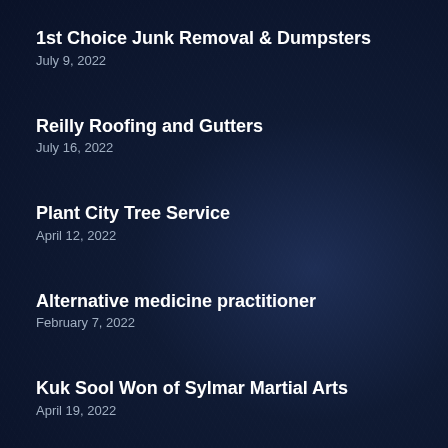1st Choice Junk Removal & Dumpsters
July 9, 2022
Reilly Roofing and Gutters
July 16, 2022
Plant City Tree Service
April 12, 2022
Alternative medicine practitioner
February 7, 2022
Kuk Sool Won of Sylmar Martial Arts
April 19, 2022